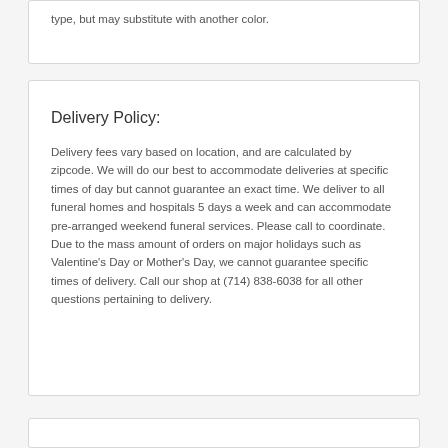type, but may substitute with another color.
Delivery Policy:
Delivery fees vary based on location, and are calculated by zipcode. We will do our best to accommodate deliveries at specific times of day but cannot guarantee an exact time. We deliver to all funeral homes and hospitals 5 days a week and can accommodate pre-arranged weekend funeral services. Please call to coordinate. Due to the mass amount of orders on major holidays such as Valentine's Day or Mother's Day, we cannot guarantee specific times of delivery. Call our shop at (714) 838-6038 for all other questions pertaining to delivery.